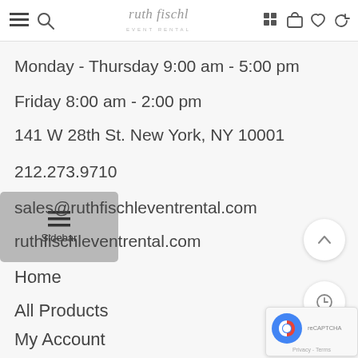ruth fischl event rental
Monday - Thursday 9:00 am - 5:00 pm
Friday 8:00 am - 2:00 pm
141 W 28th St. New York, NY 10001
212.273.9710
sales@ruthfischleventrental.com
ruthfischleventrental.com
Home
All Products
My Account
About Us
Contact Us